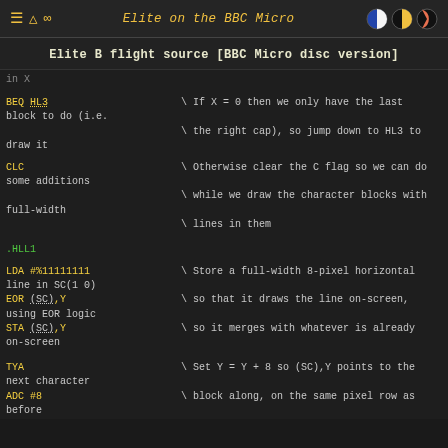Elite on the BBC Micro
Elite B flight source [BBC Micro disc version]
in X
BEQ HL3   \ If X = 0 then we only have the last block to do (i.e.
            \ the right cap), so jump down to HL3 to draw it
CLC       \ Otherwise clear the C flag so we can do some additions
            \ while we draw the character blocks with full-width
            \ lines in them
.HLL1
LDA #%11111111  \ Store a full-width 8-pixel horizontal line in SC(1 0)
 EOR (SC),Y      \ so that it draws the line on-screen, using EOR logic
 STA (SC),Y      \ so it merges with whatever is already on-screen
TYA   \ Set Y = Y + 8 so (SC),Y points to the next character
 ADC #8 \ block along, on the same pixel row as before